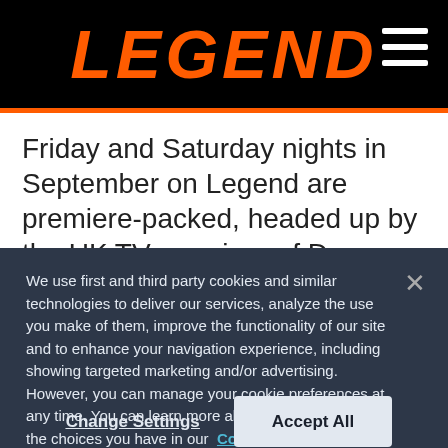LEGEND
Friday and Saturday nights in September on Legend are premiere-packed, headed up by the UK TV premiere of Doug Liman's (director of The Bourne Identity, Edge of Tomorrow), deadly psychological thriller The Wall, staring John Cena and Aaron Taylor-Johnson. There
We use first and third party cookies and similar technologies to deliver our services, analyze the use you make of them, improve the functionality of our site and to enhance your navigation experience, including showing targeted marketing and/or advertising. However, you can manage your cookie preferences at any time. You can learn more about our cookies and the choices you have in our Cookies Policy.
Change Settings
Accept All